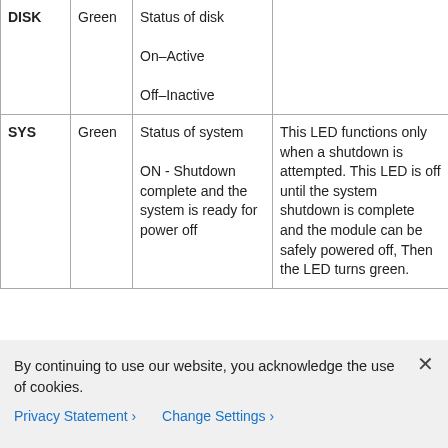| Name | Color | Status | Description |
| --- | --- | --- | --- |
| DISK | Green | Status of disk

On–Active

Off–Inactive |  |
| SYS | Green | Status of system

ON - Shutdown complete and the system is ready for power off | This LED functions only when a shutdown is attempted. This LED is off until the system shutdown is complete and the module can be safely powered off, Then the LED turns green. |
By continuing to use our website, you acknowledge the use of cookies.
Privacy Statement > Change Settings >